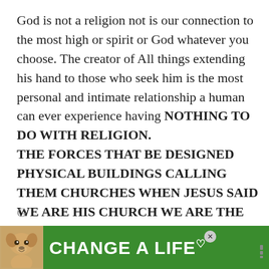God is not a religion not is our connection to the most high or spirit or God whatever you choose. The creator of All things extending his hand to those who seek him is the most personal and intimate relationship a human can ever experience having NOTHING TO DO WITH RELIGION. THE FORCES THAT BE DESIGNED PHYSICAL BUILDINGS CALLING THEM CHURCHES WHEN JESUS SAID WE ARE HIS CHURCH WE ARE THE TABERNACLE WE ARE THE TEMPLE
RELIGIONS IN MY OPINION ARE ONLY
Created to confuse and SEPERATE US FROM
G[cut off]
D[cut off]
[Figure (screenshot): Advertisement banner at bottom of screen showing a dog image on green background with text 'CHANGE A LIFE' and a heart symbol, with a close button X and media player icons]